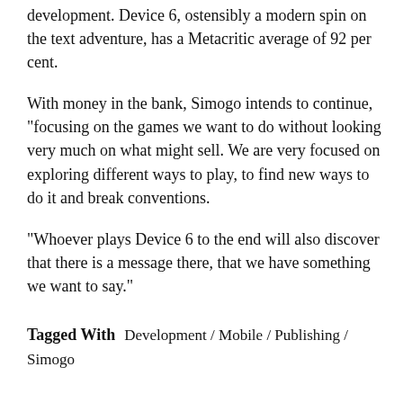development. Device 6, ostensibly a modern spin on the text adventure, has a Metacritic average of 92 per cent.
With money in the bank, Simogo intends to continue, "focusing on the games we want to do without looking very much on what might sell. We are very focused on exploring different ways to play, to find new ways to do it and break conventions.
"Whoever plays Device 6 to the end will also discover that there is a message there, that we have something we want to say."
Tagged With  Development / Mobile / Publishing / Simogo